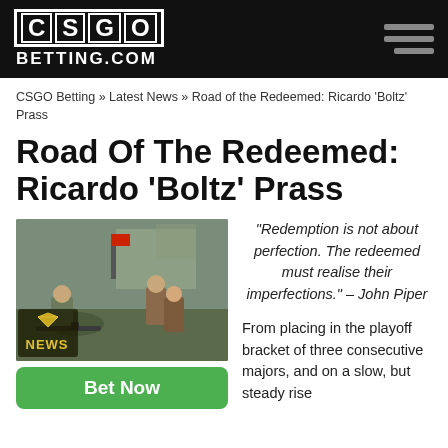CSGO BETTING.COM
CSGO Betting » Latest News » Road of the Redeemed: Ricardo 'Boltz' Prass
Road Of The Redeemed: Ricardo 'Boltz' Prass
[Figure (screenshot): CS:GO game screenshot showing soldiers/characters in combat, with a NEWS badge overlay in the bottom-left corner]
"Redemption is not about perfection. The redeemed must realise their imperfections." – John Piper
From placing in the playoff bracket of three consecutive majors, and on a slow, but steady rise
Bet Now